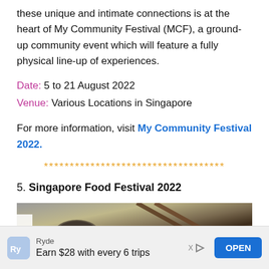these unique and intimate connections is at the heart of My Community Festival (MCF), a ground-up community event which will feature a fully physical line-up of experiences.
Date: 5 to 21 August 2022
Venue: Various Locations in Singapore
For more information, visit My Community Festival 2022.
***********************************
5. Singapore Food Festival 2022
[Figure (photo): Photo of food items including what appears to be shellfish/mussels and chopsticks on a grey surface]
Ryde
Earn $28 with every 6 trips
OPEN